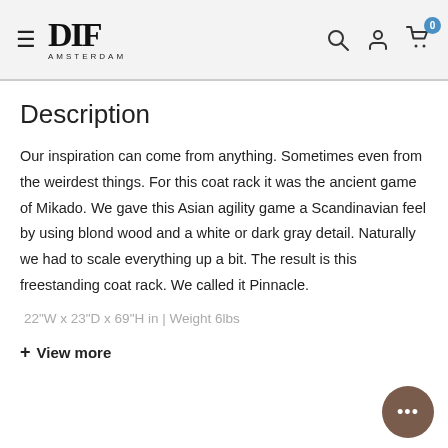DFF AMSTERDAM — navigation header with hamburger menu, search, account, and cart icons
Description
Our inspiration can come from anything. Sometimes even from the weirdest things. For this coat rack it was the ancient game of Mikado. We gave this Asian agility game a Scandinavian feel by using blond wood and a white or dark gray detail. Naturally we had to scale everything up a bit. The result is this freestanding coat rack. We called it Pinnacle.
22"W x 23"D x 69"H in | Weight 6lbs
+ View more